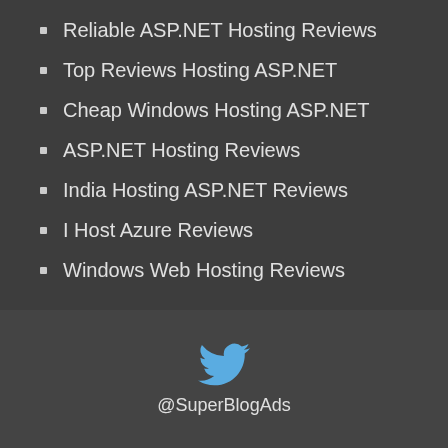Reliable ASP.NET Hosting Reviews
Top Reviews Hosting ASP.NET
Cheap Windows Hosting ASP.NET
ASP.NET Hosting Reviews
India Hosting ASP.NET Reviews
I Host Azure Reviews
Windows Web Hosting Reviews
@SuperBlogAds